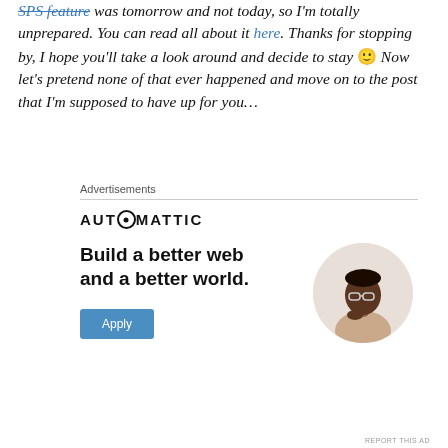SPS feature was tomorrow and not today, so I'm totally unprepared. You can read all about it here. Thanks for stopping by, I hope you'll take a look around and decide to stay 🙂 Now let's pretend none of that ever happened and move on to the post that I'm supposed to have up for you…
Advertisements
[Figure (other): Automattic advertisement banner with text 'Build a better web and a better world.' and an Apply button and a circular photo of a man thinking]